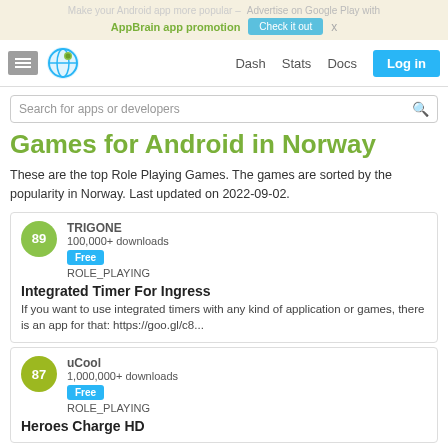Make your Android app more popular – Advertise on Google Play with AppBrain app promotion  Check it out  x
Dash  Stats  Docs  Log in
Search for apps or developers
Games for Android in Norway
These are the top Role Playing Games. The games are sorted by the popularity in Norway. Last updated on 2022-09-02.
89  TRIGONE  100,000+ downloads  Free  ROLE_PLAYING
Integrated Timer For Ingress
If you want to use integrated timers with any kind of application or games, there is an app for that: https://goo.gl/c8...
87  uCool  1,000,000+ downloads  Free  ROLE_PLAYING
Heroes Charge HD